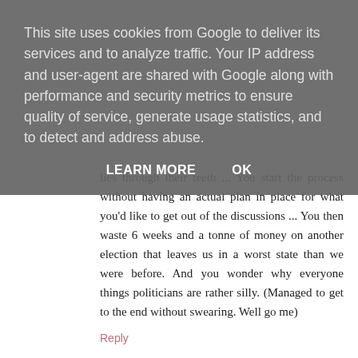This site uses cookies from Google to deliver its services and to analyze traffic. Your IP address and user-agent are shared with Google along with performance and security metrics to ensure quality of service, generate usage statistics, and to detect and address abuse.
LEARN MORE   OK
lies through their teeth ... You start the process without having an actual plan in place for what you'd like to get out of the discussions ... You then waste 6 weeks and a tonne of money on another election that leaves us in a worst state than we were before. And you wonder why everyone things politicians are rather silly. (Managed to get to the end without swearing. Well go me)
Reply
The Queen of Collage  17 June 2017 at 21:52
Like you I don't take an interest in politics at all and agree that they act like they are in a playground. #bestandworst